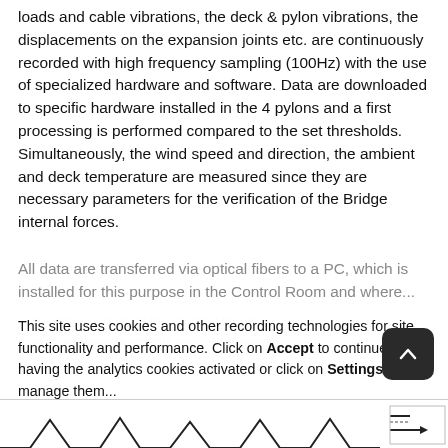loads and cable vibrations, the deck & pylon vibrations, the displacements on the expansion joints etc. are continuously recorded with high frequency sampling (100Hz) with the use of specialized hardware and software. Data are downloaded to specific hardware installed in the 4 pylons and a first processing is performed compared to the set thresholds. Simultaneously, the wind speed and direction, the ambient and deck temperature are measured since they are necessary parameters for the verification of the Bridge internal forces.
All data are transferred via optical fibers to a PC, which is installed for this purpose in the Control Room and where...
This site uses cookies and other recording technologies for site functionality and performance. Click on Accept to continue having the analytics cookies activated or click on Settings to manage them...
Cookies policy
the PC monitors of the Control Room e... in term of measurements and/or messages.
[Figure (other): Bottom strip showing a partial chart/graph, partially visible at the bottom of the page]